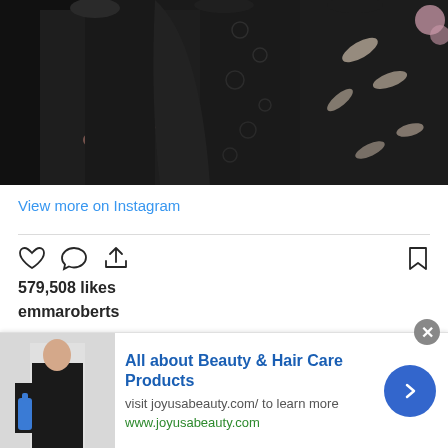[Figure (photo): Three people posing together in dark/floral clothing at what appears to be the Oscars 2017 event]
View more on Instagram
579,508 likes
emmaroberts
Getting ready for #Oscars2017 thank you to my village 🙏🏼 hair: @nikkilee901 makeup: @ctilburymakeup style: @britelkin @kakeykake @elkin nails: @jennahipp and also my mom and
[Figure (infographic): Advertisement banner for 'All about Beauty & Hair Care Products' from joyusabeauty.com, showing a woman holding a bottle, with blue arrow button]